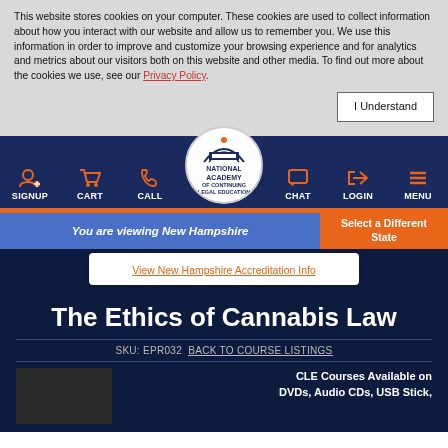This website stores cookies on your computer. These cookies are used to collect information about how you interact with our website and allow us to remember you. We use this information in order to improve and customize your browsing experience and for analytics and metrics about our visitors both on this website and other media. To find out more about the cookies we use, see our Privacy Policy.
[Figure (other): I Understand button for cookie consent]
[Figure (other): Navigation bar with SIGNUP, CART, CALL, National Academy of Continuing Legal Education logo, CHAT, LOGIN, MENU icons]
You are viewing New Hampshire
Select a Different State
View New Hampshire Accreditation Info
The Ethics of Cannabis Law
SKU: EPR032 BACK TO COURSE LISTINGS
CLE Courses Available on DVDs, Audio CDs, USB Stick,